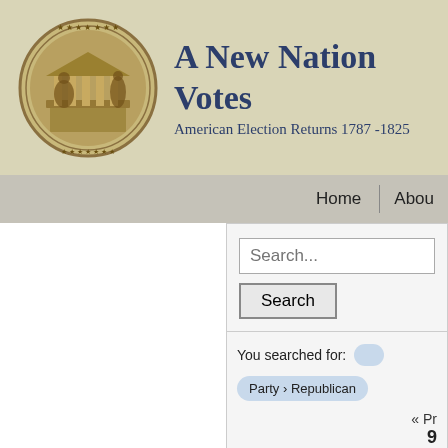[Figure (logo): Circular medallion/seal with classical figures and building, decorative border]
A New Nation Votes
American Election Returns 1787-1825
Home | About
Search...
Search
You searched for:
Party › Republican
« Pr
9
Sort by year ▼